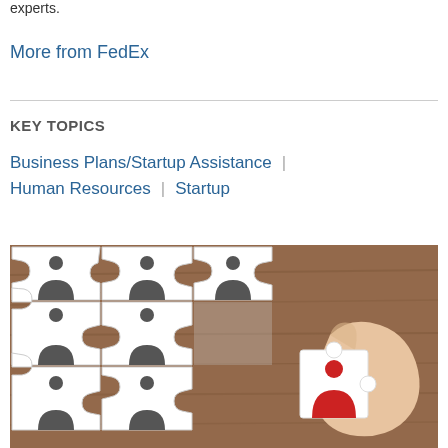experts.
More from FedEx
KEY TOPICS
Business Plans/Startup Assistance
Human Resources
Startup
[Figure (photo): Puzzle pieces with person icons on a wooden table background; a hand holds a puzzle piece with a red person icon about to be placed into the puzzle.]